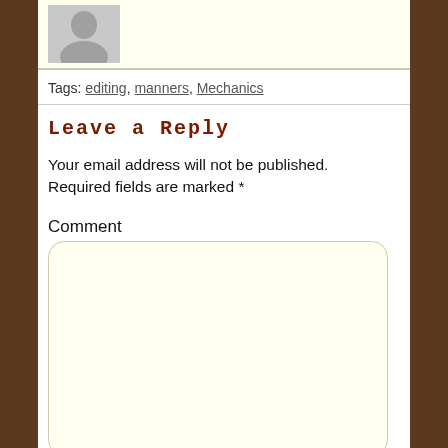[Figure (illustration): Grey avatar/user silhouette image at top of page]
Tags: editing, manners, Mechanics
Leave a Reply
Your email address will not be published. Required fields are marked *
Comment
[Figure (other): Comment text input box with rounded corners and light yellow background]